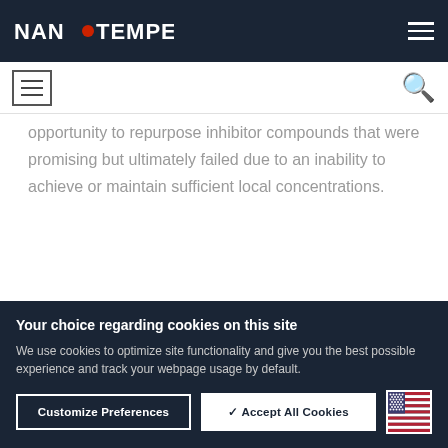NanoTemper (logo and navigation bar)
opportunity to repurpose inhibitor compounds that were promising but ultimately failed due to an inability to achieve or maintain sufficient local concentrations.
With a better understanding of the vocabulary and
Your choice regarding cookies on this site
We use cookies to optimize site functionality and give you the best possible experience and track your webpage usage by default.